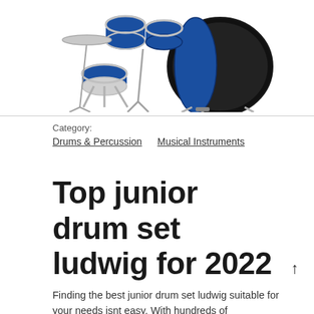[Figure (photo): Photo of a blue Ludwig junior drum set with chrome hardware on a white background, partially visible at the top of the page]
Category:
Drums & Percussion   Musical Instruments
Top junior drum set ludwig for 2022
Finding the best junior drum set ludwig suitable for your needs isnt easy. With hundreds of